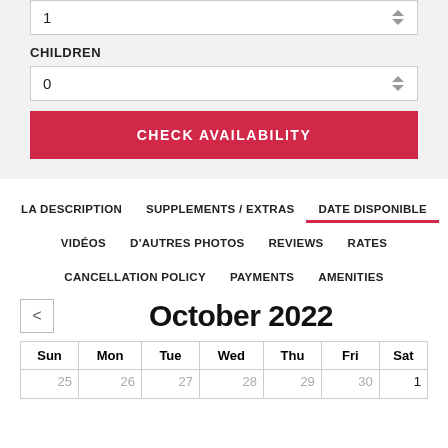1
CHILDREN
0
CHECK AVAILABILITY
LA DESCRIPTION
SUPPLEMENTS / EXTRAS
DATE DISPONIBLE
VIDÉOS
D'AUTRES PHOTOS
REVIEWS
RATES
CANCELLATION POLICY
PAYMENTS
AMENITIES
October 2022
| Sun | Mon | Tue | Wed | Thu | Fri | Sat |
| --- | --- | --- | --- | --- | --- | --- |
| 25 | 26 | 27 | 28 | 29 | 30 | 1 |